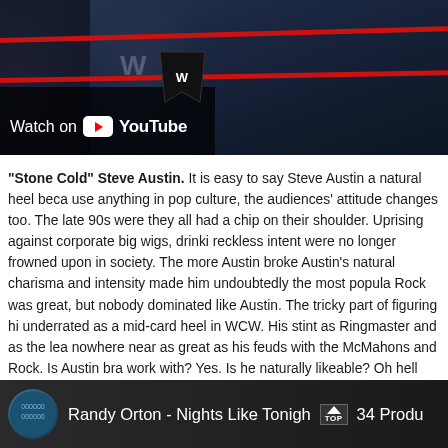[Figure (screenshot): YouTube video thumbnail showing a WWE wrestling scene with red ropes. A 'Watch on YouTube' overlay with WWE logo is visible in the lower left corner of the video player.]
“Stone Cold” Steve Austin. It is easy to say Steve Austin a natural heel because anything in pop culture, the audiences’ attitude changes too. The late 90s were they all had a chip on their shoulder. Uprising against corporate big wigs, drinki reckless intent were no longer frowned upon in society. The more Austin broke Austin’s natural charisma and intensity made him undoubtedly the most popula Rock was great, but nobody dominated like Austin. The tricky part of figuring hi underrated as a mid-card heel in WCW. His stint as Ringmaster and as the lea nowhere near as great as his feuds with the McMahons and Rock. Is Austin bra work with? Yes. Is he naturally likeable? Oh hell yeah. Decision – Hero.
[Figure (screenshot): YouTube video player showing 'Randy Orton - Nights Like Tonight' with a channel icon on the left and a TOP badge visible.]